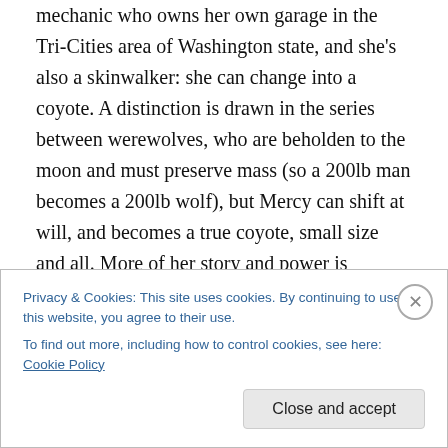mechanic who owns her own garage in the Tri-Cities area of Washington state, and she's also a skinwalker: she can change into a coyote. A distinction is drawn in the series between werewolves, who are beholden to the moon and must preserve mass (so a 200lb man becomes a 200lb wolf), but Mercy can shift at will, and becomes a true coyote, small size and all. More of her story and power is revealed through the series, tying her ability not to her status as an indigenous person, but more because of her specific backstory. This point matters: In many Magical Indian portrayals, no explanation is given for the
Privacy & Cookies: This site uses cookies. By continuing to use this website, you agree to their use.
To find out more, including how to control cookies, see here: Cookie Policy